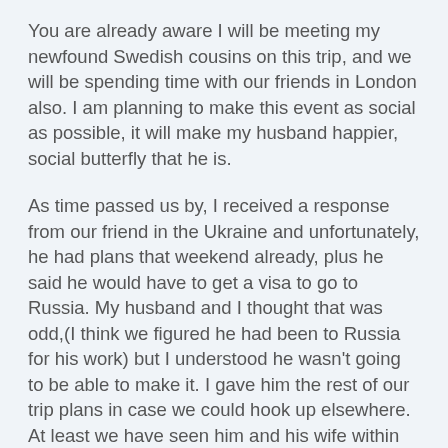You are already aware I will be meeting my newfound Swedish cousins on this trip, and we will be spending time with our friends in London also. I am planning to make this event as social as possible, it will make my husband happier, social butterfly that he is.
As time passed us by, I received a response from our friend in the Ukraine and unfortunately, he had plans that weekend already, plus he said he would have to get a visa to go to Russia. My husband and I thought that was odd,(I think we figured he had been to Russia for his work) but I understood he wasn't going to be able to make it. I gave him the rest of our trip plans in case we could hook up elsewhere. At least we have seen him and his wife within the past year, so it hasn't been eons or anything.
Next, my cousin in Norway said she would see what she could do to hook up with us. Her summer place is north of Gothenburg. It was a few hours ride away.